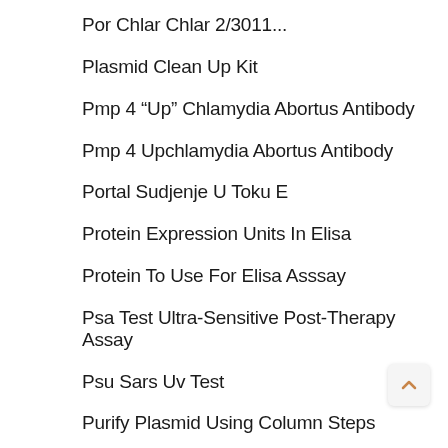Por Chlar Chlar 2/3011...
Plasmid Clean Up Kit
Pmp 4 “Up” Chlamydia Abortus Antibody
Pmp 4 Upchlamydia Abortus Antibody
Portal Sudjenje U Toku E
Protein Expression Units In Elisa
Protein To Use For Elisa Asssay
Psa Test Ultra-Sensitive Post-Therapy Assay
Psu Sars Uv Test
Purify Plasmid Using Column Steps
Quantichrom ™ Uric Acid Assay Kit Diua 250